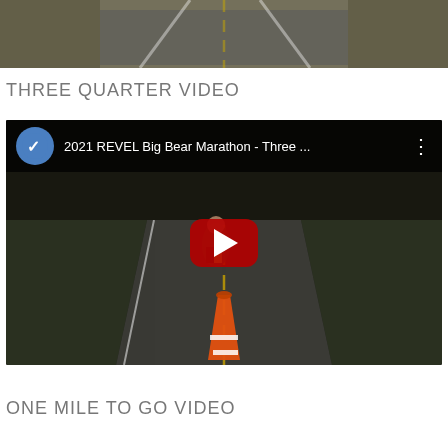[Figure (photo): Top cropped road/aerial photo showing a road surface]
THREE QUARTER VIDEO
[Figure (screenshot): YouTube video embed showing 2021 REVEL Big Bear Marathon - Three ... with a runner on a road and a traffic cone, red play button in center]
ONE MILE TO GO VIDEO